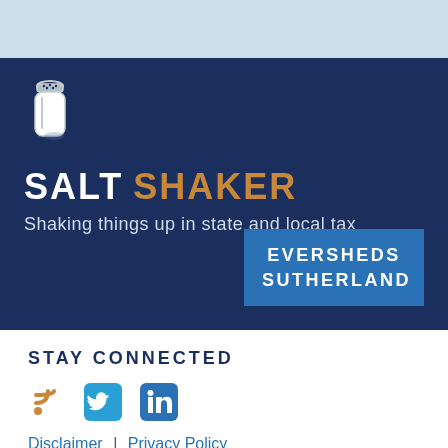[Figure (logo): Light blue header band]
[Figure (logo): Salt shaker icon in white on dark navy background]
SALT SHAKER
Shaking things up in state and local tax
[Figure (logo): Eversheds Sutherland logo box in medium blue]
STAY CONNECTED
[Figure (logo): RSS, Twitter, and LinkedIn social media icons]
Disclaimer | Privacy Policy